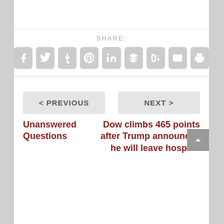SHARE:
[Figure (infographic): Social sharing buttons: Facebook, Twitter, Tumblr, Pinterest, LinkedIn, Buffer, StumbleUpon, Email, Print]
< PREVIOUS
NEXT >
Unanswered Questions
Dow climbs 465 points after Trump announces he will leave hospital